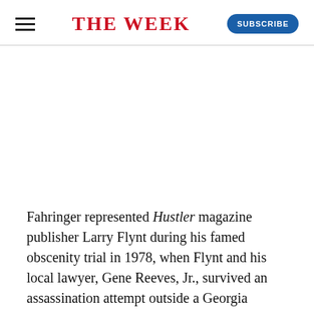THE WEEK
Fahringer represented Hustler magazine publisher Larry Flynt during his famed obscenity trial in 1978, when Flynt and his local lawyer, Gene Reeves, Jr., survived an assassination attempt outside a Georgia